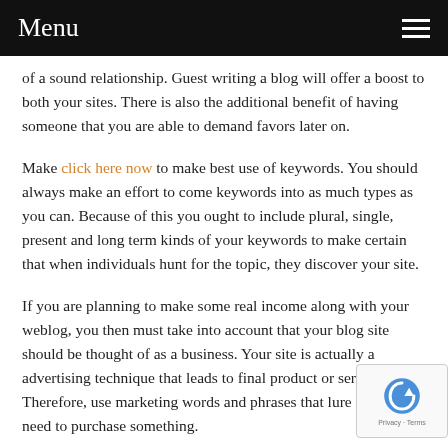Menu
of a sound relationship. Guest writing a blog will offer a boost to both your sites. There is also the additional benefit of having someone that you are able to demand favors later on.
Make click here now to make best use of keywords. You should always make an effort to come keywords into as much types as you can. Because of this you ought to include plural, single, present and long term kinds of your keywords to make certain that when individuals hunt for the topic, they discover your site.
If you are planning to make some real income along with your weblog, you then must take into account that your blog site should be thought of as a business. Your site is actually a advertising technique that leads to final product or service. Therefore, use marketing words and phrases that lure readers to need to purchase something.